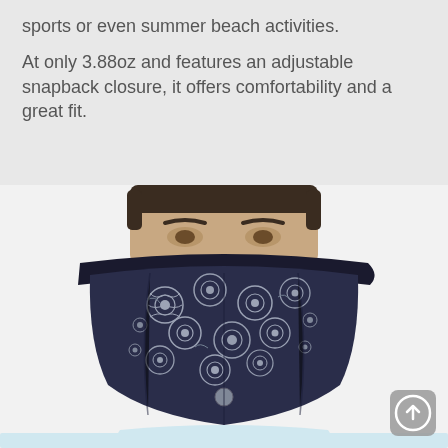sports or even summer beach activities.
At only 3.88oz and features an adjustable snapback closure, it offers comfortability and a great fit.
[Figure (photo): Close-up photo of a person holding up a dark navy baseball cap with white floral rose pattern on the brim panel, covering the lower half of their face. The cap has a snapback closure visible at the bottom. A circular scroll-to-top UI button is overlaid at the lower right corner of the image.]